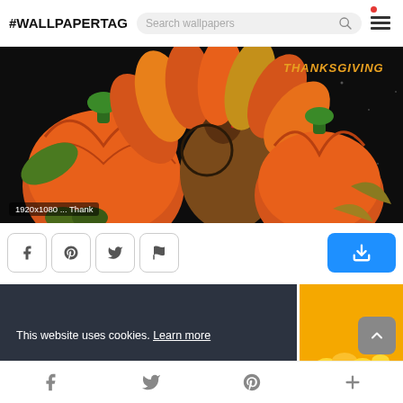#WALLPAPERTAG
[Figure (photo): Thanksgiving themed wallpaper showing 3D rendered pumpkins, turkey, and corn on a dark background with THANKSGIVING text in orange]
1920x1080 ... Thank
This website uses cookies. Learn more
Got it!
[Figure (photo): Partial thumbnail of another Thanksgiving wallpaper with orange/yellow background and corn]